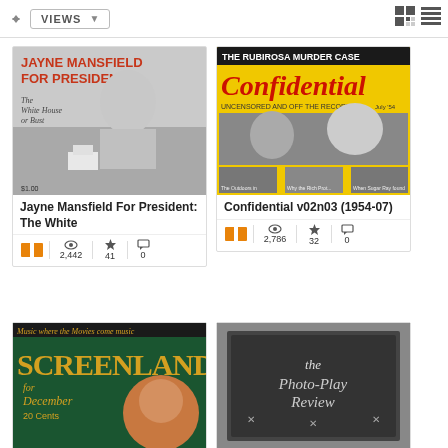[Figure (screenshot): Top navigation bar with VIEWS dropdown and view toggle icons]
[Figure (photo): Book cover: Jayne Mansfield For President: The White House or Bust]
Jayne Mansfield For President: The White
2,442 views, 41 favorites, 0 comments
[Figure (photo): Magazine cover: Confidential v02n03 (1954-07), The Rubirosa Murder Case]
Confidential v02n03 (1954-07)
2,786 views, 32 favorites, 0 comments
[Figure (photo): Screenland magazine cover, partial]
[Figure (photo): Photo-Play Review magazine cover, partial]